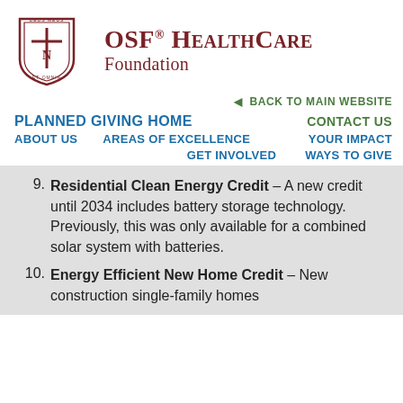[Figure (logo): OSF HealthCare Foundation logo with shield crest and organization name]
BACK TO MAIN WEBSITE
PLANNED GIVING HOME   CONTACT US   ABOUT US   AREAS OF EXCELLENCE   YOUR IMPACT   GET INVOLVED   WAYS TO GIVE
Residential Clean Energy Credit – A new credit until 2034 includes battery storage technology. Previously, this was only available for a combined solar system with batteries.
Energy Efficient New Home Credit – New construction single-family homes